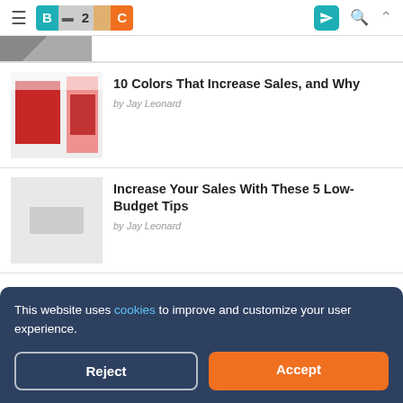B2C — Business to Community
[Figure (screenshot): Partial top image, cropped]
10 Colors That Increase Sales, and Why
by Jay Leonard
[Figure (photo): Red branding/stationery design image]
Increase Your Sales With These 5 Low-Budget Tips
by Jay Leonard
[Figure (photo): Blurred/placeholder gray thumbnail]
This website uses cookies to improve and customize your user experience.